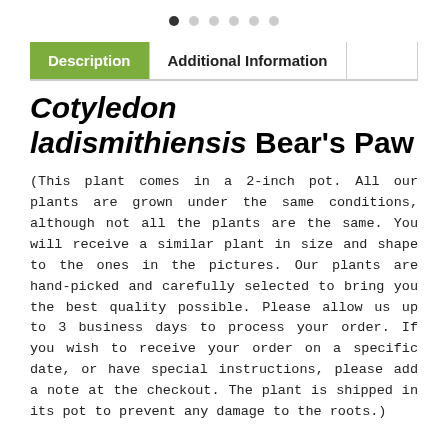[Figure (infographic): Navigation dots row: one filled black dot followed by five light gray dots indicating a carousel/slideshow position indicator]
Description | Additional Information
Cotyledon ladismithiensis Bear's Paw
(This plant comes in a 2-inch pot. All our plants are grown under the same conditions, although not all the plants are the same. You will receive a similar plant in size and shape to the ones in the pictures. Our plants are hand-picked and carefully selected to bring you the best quality possible. Please allow us up to 3 business days to process your order. If you wish to receive your order on a specific date, or have special instructions, please add a note at the checkout. The plant is shipped in its pot to prevent any damage to the roots.)